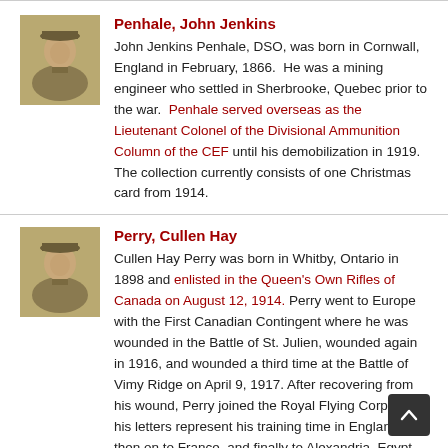[Figure (photo): Sepia-toned portrait photo of John Jenkins Penhale in military uniform]
Penhale, John Jenkins
John Jenkins Penhale, DSO, was born in Cornwall, England in February, 1866. He was a mining engineer who settled in Sherbrooke, Quebec prior to the war. Penhale served overseas as the Lieutenant Colonel of the Divisional Ammunition Column of the CEF until his demobilization in 1919. The collection currently consists of one Christmas card from 1914.
[Figure (photo): Sepia-toned portrait photo of Cullen Hay Perry in military uniform]
Perry, Cullen Hay
Cullen Hay Perry was born in Whitby, Ontario in 1898 and enlisted in the Queen's Own Rifles of Canada on August 12, 1914. Perry went to Europe with the First Canadian Contingent where he was wounded in the Battle of St. Julien, wounded again in 1916, and wounded a third time at the Battle of Vimy Ridge on April 9, 1917. After recovering from his wound, Perry joined the Royal Flying Corps, and his letters represent his training time in England, then on to France, and finally to Alexandria, Egypt where he was